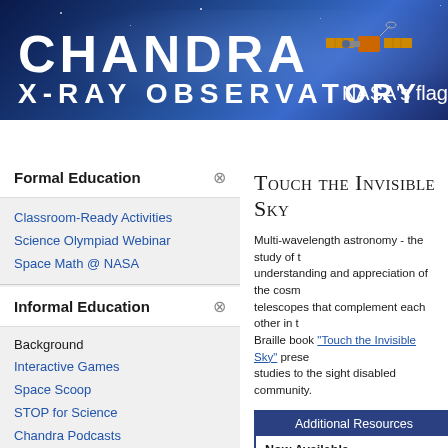[Figure (screenshot): Chandra X-ray Observatory website header with dark blue space background and satellite image, showing navigation bar with Home, About Chandra, Education (active), Field Guide, Photo Album tabs]
Touch the Invisible Sky
Multi-wavelength astronomy - the study of t... understanding and appreciation of the cosm... telescopes that complement each other in t... Braille book "Touch the Invisible Sky" prese... studies to the sight disabled community.
Additional Resources
Now Available
Listen to audio recordings of Touch the Invisible Sky:
Subscribe to the podcast
Listen to:
"Touch ... book pr... differen... Braille a... represe...

Copies ... serving ... Addition...
Formal Education
Classroom-Ready Activities
Science Olympiad Webinar
Space Math @ NASA
Informal Education
Background
Interactive Games
Space Scoop
STOP for Science
Chandra Podcasts
Printable Materials
Resource Request Form
Educators' Comments